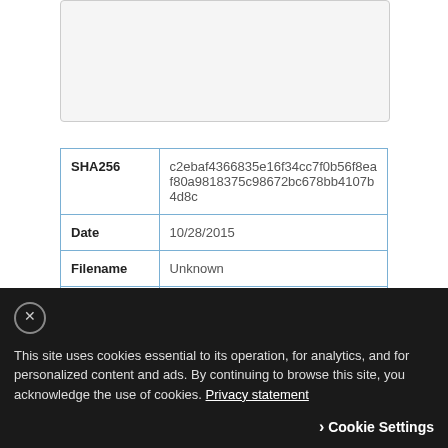[Figure (other): Gray box placeholder area at top of page]
| SHA256 | c2ebaf4366835e16f34cc7f0b56f8eaf80a9818375c98672bc678bb4107b4d8c |
| Date | 10/28/2015 |
| Filename | Unknown |
| Vulnerability Targets | CVE-2012-0158 |
This site uses cookies essential to its operation, for analytics, and for personalized content and ads. By continuing to browse this site, you acknowledge the use of cookies. Privacy statement
Cookie Settings